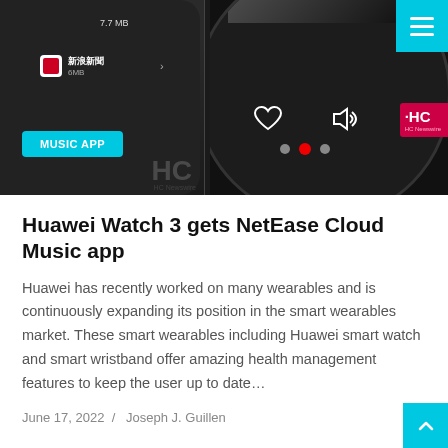[Figure (photo): Two screenshots of Huawei Watch 3 showing apps list with 7.7 MB and 6 MB labels and a Music App button on the left, and watch face showing heart and volume icons with navigation dots on the right]
Huawei Watch 3 gets NetEase Cloud Music app
Huawei has recently worked on many wearables and is continuously expanding its position in the smart wearables market. These smart wearables including Huawei smart watch and smart wristband offer amazing health management features to keep the user up to date...
June 17, 2022  /  Joseph J. Guillen